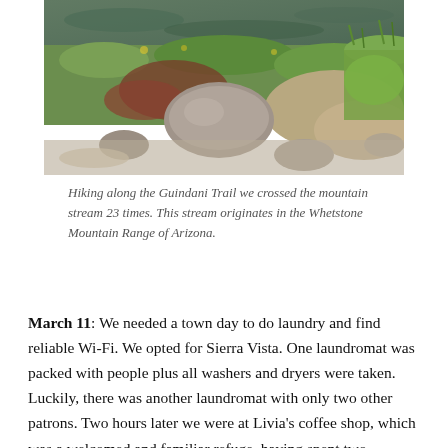[Figure (photo): A nature photograph showing a rocky mountainside stream area with rocks, green grass, moss, brownish-red foliage, and water visible in the upper portion. The scene is from the Guindani Trail in the Whetstone Mountain Range of Arizona.]
Hiking along the Guindani Trail we crossed the mountain stream 23 times. This stream originates in the Whetstone Mountain Range of Arizona.
March 11: We needed a town day to do laundry and find reliable Wi-Fi. We opted for Sierra Vista. One laundromat was packed with people plus all washers and dryers were taken. Luckily, there was another laundromat with only two other patrons. Two hours later we were at Livia's coffee shop, which was a welcomed and familiar refuge, having spent two afternoons there last February (2019), while staying at Kartchner Caverns. At Livia's we